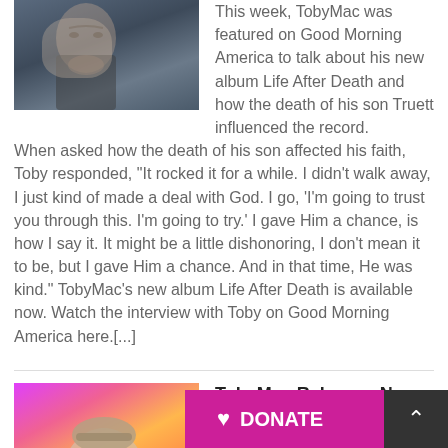[Figure (photo): Photo of a bearded man with glasses against a blue background]
This week, TobyMac was featured on Good Morning America to talk about his new album Life After Death and how the death of his son Truett influenced the record. When asked how the death of his son affected his faith, Toby responded, "It rocked it for a while. I didn't walk away, I just kind of made a deal with God. I go, 'I'm going to trust you through this. I'm going to try.' I gave Him a chance, is how I say it. It might be a little dishonoring, I don't mean it to be, but I gave Him a chance. And in that time, He was kind." TobyMac's new album Life After Death is available now. Watch the interview with Toby on Good Morning America here.[...]
[Figure (photo): Photo of TobyMac wearing a bucket hat with colorful pink/orange/yellow background]
TobyMac Releases New Album
on August 21, 2022 at 1:00 am
Multi-ph... greatly...